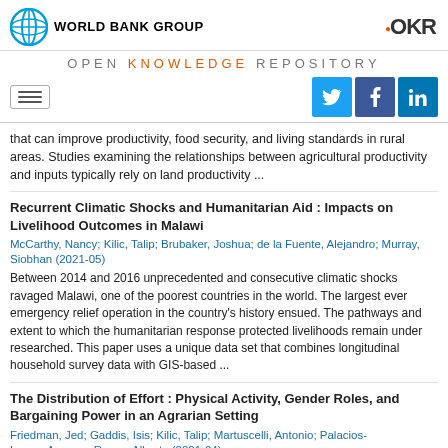[Figure (logo): World Bank Group logo with globe icon and text, plus OKR logo on the right]
OPEN KNOWLEDGE REPOSITORY
[Figure (infographic): Navigation hamburger menu icon on left, social media buttons (Twitter, Facebook, LinkedIn) on right]
that can improve productivity, food security, and living standards in rural areas. Studies examining the relationships between agricultural productivity and inputs typically rely on land productivity ...
Recurrent Climatic Shocks and Humanitarian Aid : Impacts on Livelihood Outcomes in Malawi
McCarthy, Nancy; Kilic, Talip; Brubaker, Joshua; de la Fuente, Alejandro; Murray, Siobhan (2021-05)
Between 2014 and 2016 unprecedented and consecutive climatic shocks ravaged Malawi, one of the poorest countries in the world. The largest ever emergency relief operation in the country's history ensued. The pathways and extent to which the humanitarian response protected livelihoods remain under researched. This paper uses a unique data set that combines longitudinal household survey data with GIS-based ...
The Distribution of Effort : Physical Activity, Gender Roles, and Bargaining Power in an Agrarian Setting
Friedman, Jed; Gaddis, Isis; Kilic, Talip; Martuscelli, Antonio; Palacios-Lopez, Amparo; Rosas, Alberto (2021-04)